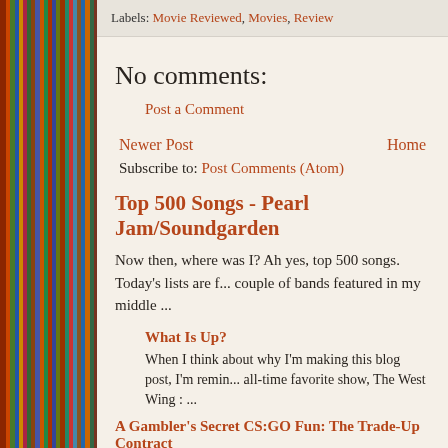Labels: Movie Reviewed, Movies, Review
No comments:
Post a Comment
Newer Post    Home
Subscribe to: Post Comments (Atom)
Top 500 Songs - Pearl Jam/Soundgarden
Now then, where was I? Ah yes, top 500 songs. Today's lists are f... couple of bands featured in my middle ...
What Is Up?
When I think about why I'm making this blog post, I'm remin... all-time favorite show, The West Wing : ...
A Gambler's Secret CS:GO Fun: The Trade-Up Contract